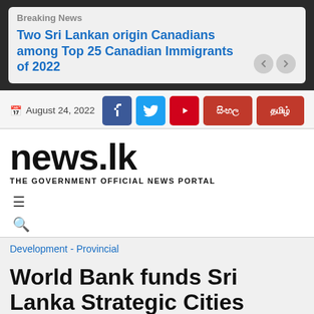Breaking News
Two Sri Lankan origin Canadians among Top 25 Canadian Immigrants of 2022
August 24, 2022
[Figure (logo): news.lk - THE GOVERNMENT OFFICIAL NEWS PORTAL logo]
Development - Provincial
World Bank funds Sri Lanka Strategic Cities Development project